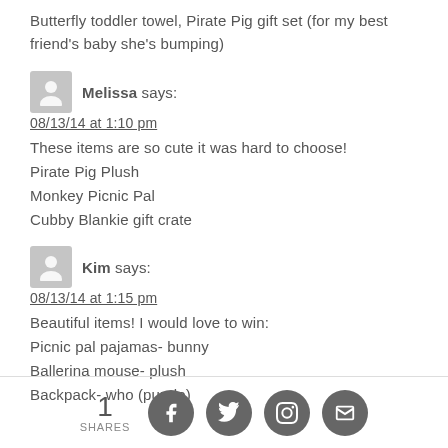Butterfly toddler towel, Pirate Pig gift set (for my best friend's baby she's bumping)
Melissa says:
08/13/14 at 1:10 pm
These items are so cute it was hard to choose!
Pirate Pig Plush
Monkey Picnic Pal
Cubby Blankie gift crate
Kim says:
08/13/14 at 1:15 pm
Beautiful items! I would love to win:
Picnic pal pajamas- bunny
Ballerina mouse- plush
Backpack- who (purple)
1 SHARES